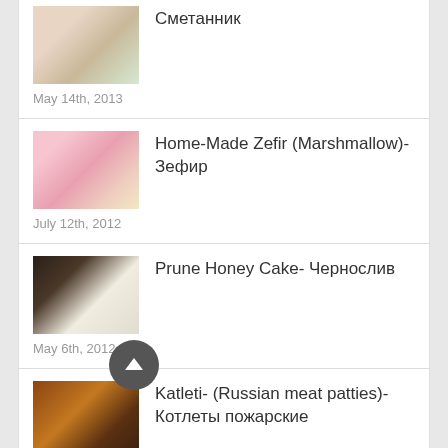Сметанник
May 14th, 2013
Home-Made Zefir (Marshmallow)- Зефир
July 12th, 2012
Prune Honey Cake- Чернослив
May 6th, 2012
Katleti- (Russian meat patties)- Котлеты пожарские
January 8th, 2012